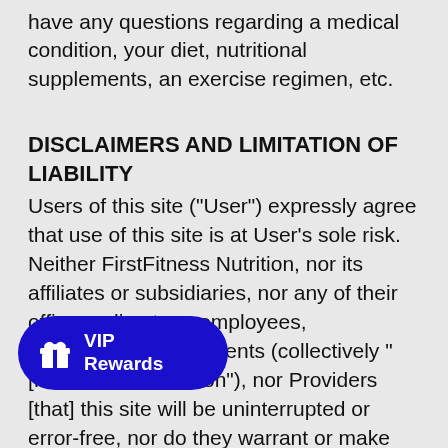have any questions regarding a medical condition, your diet, nutritional supplements, an exercise regimen, etc.
DISCLAIMERS AND LIMITATION OF LIABILITY
Users of this site ("User") expressly agree that use of this site is at User's sole risk. Neither FirstFitness Nutrition, nor its affiliates or subsidiaries, nor any of their officers, directors, employees, representatives or agents (collectively "[FirstFitness] Nutrition"), nor Providers [that] this site will be uninterrupted or error-free, nor do they warrant or make any [representations as to the accuracy of the]
[Figure (other): VIP Rewards button overlay — dark blue rounded rectangle with gift icon and text 'VIP Rewards']